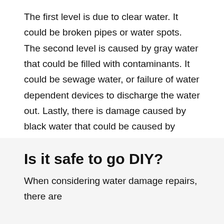The first level is due to clear water. It could be broken pipes or water spots. The second level is caused by gray water that could be filled with contaminants. It could be sewage water, or failure of water dependent devices to discharge the water out. Lastly, there is damage caused by black water that could be caused by catastrophic events and could be difficult to fix.
Is it safe to go DIY?
When considering water damage repairs, there are